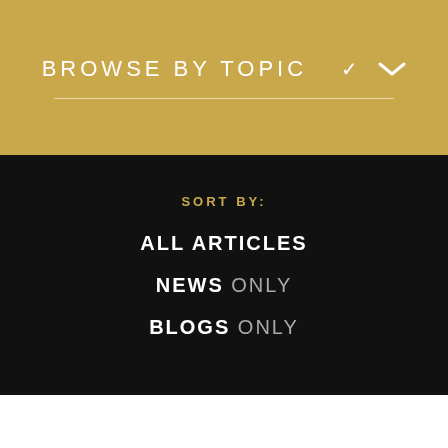BROWSE BY TOPIC ▾
SORT BY:
ALL ARTICLES
NEWS ONLY
BLOGS ONLY